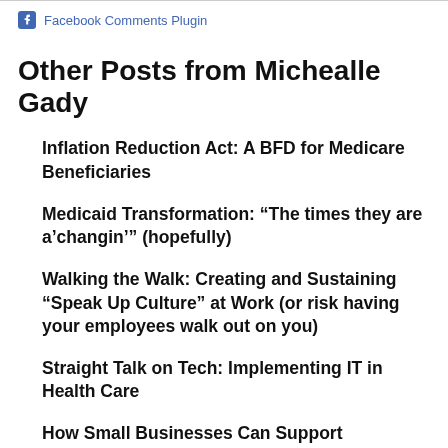Facebook Comments Plugin
Other Posts from Michealle Gady
Inflation Reduction Act: A BFD for Medicare Beneficiaries
Medicaid Transformation: “The times they are a’changin’” (hopefully)
Walking the Walk: Creating and Sustaining “Speak Up Culture” at Work (or risk having your employees walk out on you)
Straight Talk on Tech: Implementing IT in Health Care
How Small Businesses Can Support Employees Mental Health